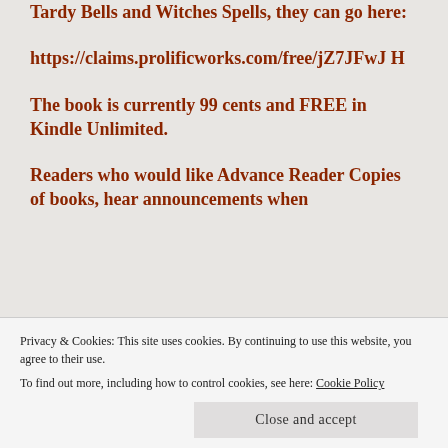Tardy Bells and Witches Spells, they can go here:
https://claims.prolificworks.com/free/jZ7JFwJH
The book is currently 99 cents and FREE in Kindle Unlimited.
Readers who would like Advance Reader Copies of books, hear announcements when
Privacy & Cookies: This site uses cookies. By continuing to use this website, you agree to their use.
To find out more, including how to control cookies, see here: Cookie Policy
Close and accept